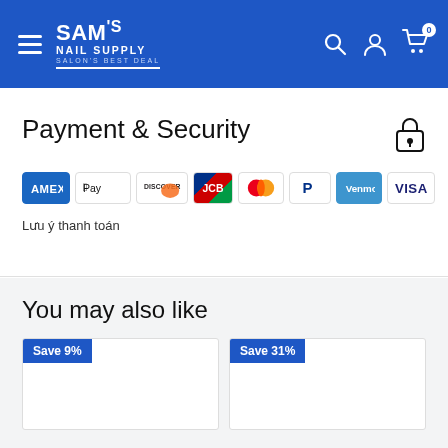SAM's NAIL SUPPLY — SALON'S BEST DEAL
Payment & Security
[Figure (other): Payment method badges: AMEX, Apple Pay, Discover, JCB, Mastercard, PayPal, Venmo, VISA]
Lưu ý thanh toán
You may also like
Save 9%
Save 31%